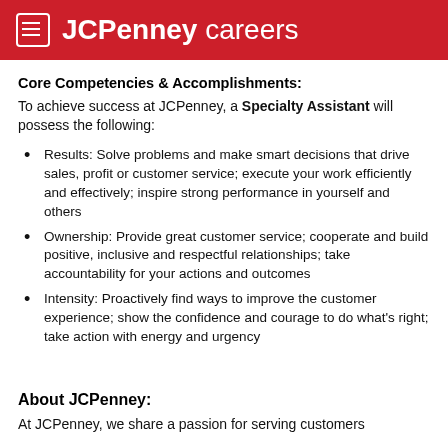JCPenney careers
Core Competencies & Accomplishments:
To achieve success at JCPenney, a Specialty Assistant will possess the following:
Results: Solve problems and make smart decisions that drive sales, profit or customer service; execute your work efficiently and effectively; inspire strong performance in yourself and others
Ownership: Provide great customer service; cooperate and build positive, inclusive and respectful relationships; take accountability for your actions and outcomes
Intensity: Proactively find ways to improve the customer experience; show the confidence and courage to do what's right; take action with energy and urgency
About JCPenney:
At JCPenney, we share a passion for serving customers